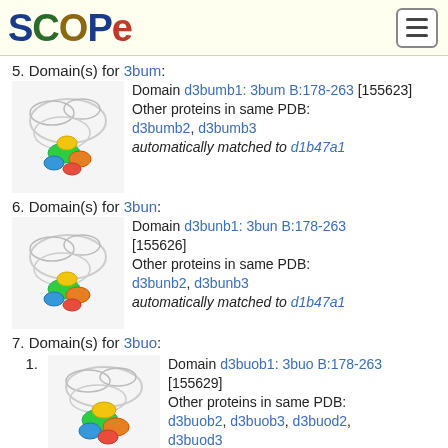SCOPe
5. Domain(s) for 3bum:
[Figure (photo): Protein structure image for 3bum domain]
Domain d3bumb1: 3bum B:178-263 [155623]
Other proteins in same PDB: d3bumb2, d3bumb3
automatically matched to d1b47a1
6. Domain(s) for 3bun:
[Figure (photo): Protein structure image for 3bun domain]
Domain d3bunb1: 3bun B:178-263 [155626]
Other proteins in same PDB: d3bunb2, d3bunb3
automatically matched to d1b47a1
7. Domain(s) for 3buo:
1. Domain d3buob1: 3buo B:178-263 [155629]
Other proteins in same PDB: d3buob2, d3buob3, d3buod2, d3buod3
automatically matched to d1b47a1
[Figure (photo): Protein structure image for 3buo domain]